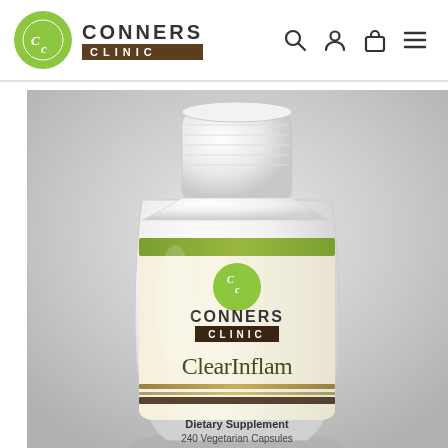CONNERS CLINIC
[Figure (photo): White plastic supplement bottle with Conners Clinic ClearInflam label, showing green olive-colored accent band, Conners Clinic logo (green circle with Cc), product name ClearInflam in large olive/dark type, with text 'Dietary Supplement 240 Vegetarian Capsules' at bottom. Photographed against a light grey background.]